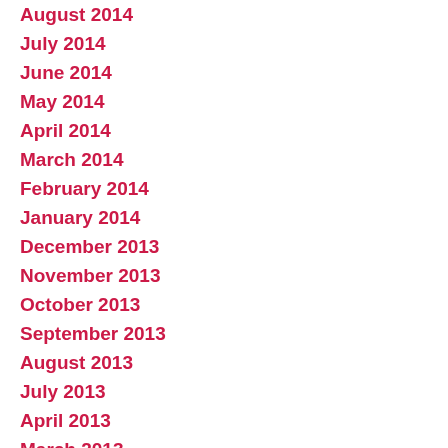August 2014
July 2014
June 2014
May 2014
April 2014
March 2014
February 2014
January 2014
December 2013
November 2013
October 2013
September 2013
August 2013
July 2013
April 2013
March 2013